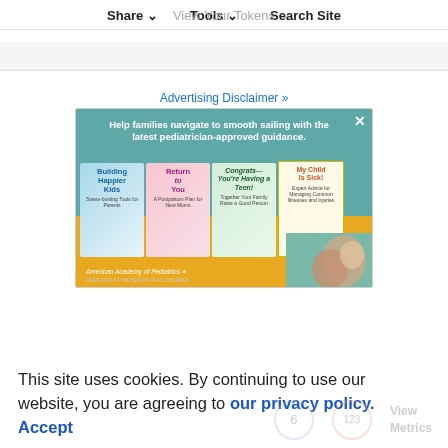Share ∨   Tools ∨   Search Site
Advertising Disclaimer »
[Figure (photo): Advertisement for American Academy of Pediatrics books showing four book covers (Building Happier Kids, Return to You, Congrats—You're Having a Teen!, My Child Is Sick!) on a teal and gold background with text: Help families navigate to smooth sailing with the latest pediatrician-approved guidance. American Academy of Pediatrics logo at bottom left.]
This site uses cookies. By continuing to use our website, you are agreeing to our privacy policy. Accept